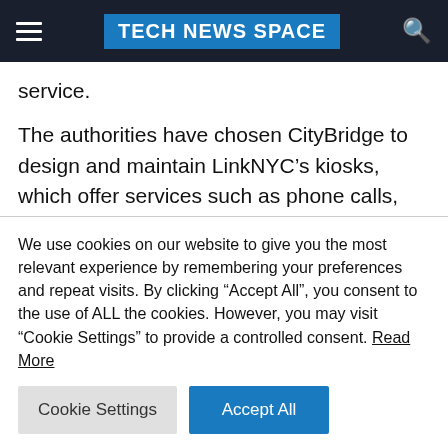TECH NEWS SPACE
service.
The authorities have chosen CityBridge to design and maintain LinkNYC’s kiosks, which offer services such as phone calls, Wi-Fi and device charging. In 2015, payphones began to be phased out with their replacement by high-tech kiosks
We use cookies on our website to give you the most relevant experience by remembering your preferences and repeat visits. By clicking “Accept All”, you consent to the use of ALL the cookies. However, you may visit “Cookie Settings” to provide a controlled consent. Read More
Cookie Settings | Accept All